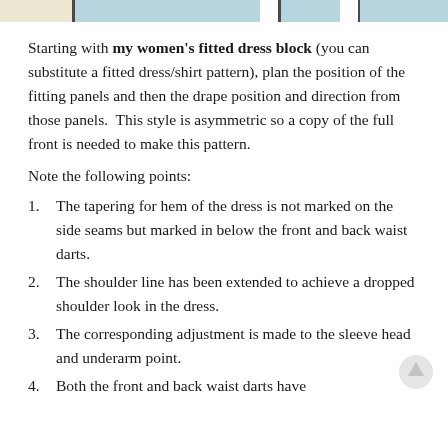[Figure (illustration): Partial top strip showing fabric/pattern swatches in beige and light blue colors with vertical dividers]
Starting with my women's fitted dress block (you can substitute a fitted dress/shirt pattern), plan the position of the fitting panels and then the drape position and direction from those panels.  This style is asymmetric so a copy of the full front is needed to make this pattern.
Note the following points:
The tapering for hem of the dress is not marked on the side seams but marked in below the front and back waist darts.
The shoulder line has been extended to achieve a dropped shoulder look in the dress.
The corresponding adjustment is made to the sleeve head and underarm point.
Both the front and back waist darts have